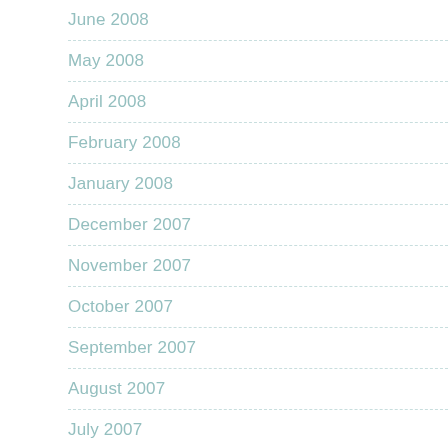June 2008
May 2008
April 2008
February 2008
January 2008
December 2007
November 2007
October 2007
September 2007
August 2007
July 2007